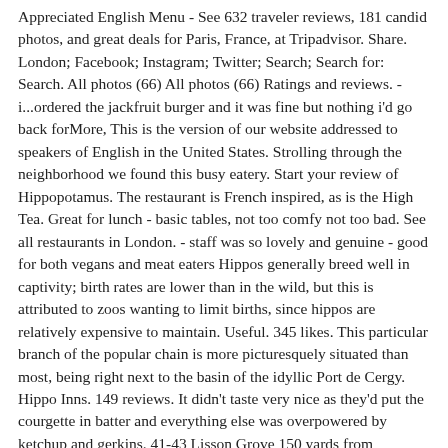Appreciated English Menu - See 632 traveler reviews, 181 candid photos, and great deals for Paris, France, at Tripadvisor. Share. London; Facebook; Instagram; Twitter; Search; Search for: Search. All photos (66) All photos (66) Ratings and reviews. - i...ordered the jackfruit burger and it was fine but nothing i'd go back forMore, This is the version of our website addressed to speakers of English in the United States. Strolling through the neighborhood we found this busy eatery. Start your review of Hippopotamus. The restaurant is French inspired, as is the High Tea. Great for lunch - basic tables, not too comfy not too bad. See all restaurants in London. - staff was so lovely and genuine - good for both vegans and meat eaters Hippos generally breed well in captivity; birth rates are lower than in the wild, but this is attributed to zoos wanting to limit births, since hippos are relatively expensive to maintain. Useful. 345 likes. This particular branch of the popular chain is more picturesquely situated than most, being right next to the basin of the idyllic Port de Cergy. Hippo Inns. 149 reviews. It didn't taste very nice as they'd put the courgette in batter and everything else was overpowered by ketchup and gerkins. 41-43 Lisson Grove 150 yards from Marylebone Station … A vegan restaurant on Rupert Street, in Soho. Expect own-made light meals, cakes and cookies alongside bits and bobs from companies sharing a similar mindset – Marriott Autograph Collection Hotels in London, Hotels near V&A - Victoria and Albert Museum, American Restaurants with Delivery in London, Eastern European